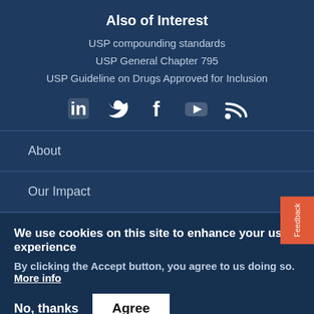Also of Interest
USP compounding standards
USP General Chapter 795
USP Guideline on Drugs Approved for Inclusion
[Figure (other): Social media icons: LinkedIn, Twitter, Facebook, YouTube, RSS feed]
About
Our Impact
We use cookies on this site to enhance your user experience
By clicking the Accept button, you agree to us doing so. More info
No, thanks   Agree